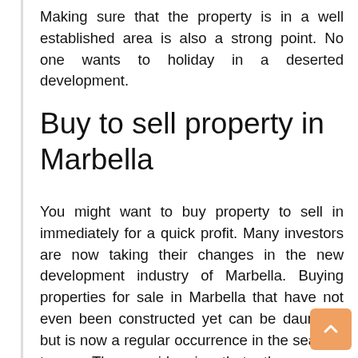Making sure that the property is in a well established area is also a strong point. No one wants to holiday in a deserted development.
Buy to sell property in Marbella
You might want to buy property to sell in immediately for a quick profit. Many investors are now taking their changes in the new development industry of Marbella. Buying properties for sale in Marbella that have not even been constructed yet can be daunting, but is now a regular occurrence in the seaside town. The upside is that these new developments are sold at very low prices for a quick sale, so when you get the keys, you will have immediately made a profit as